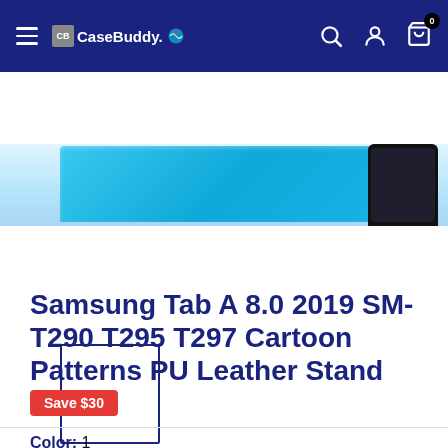CaseBuddy — navigation bar with hamburger menu, logo, search, account, and cart (0 items)
[Figure (photo): Product image showing a blue case for Samsung tablet, with the tablet edge visible on the right side.]
[Figure (photo): Small white thumbnail placeholder with dark blue border.]
Samsung Tab A 8.0 2019 SM-T290 T295 T297 Cartoon Patterns PU Leather Stand Shell
Save $30
Color: 1